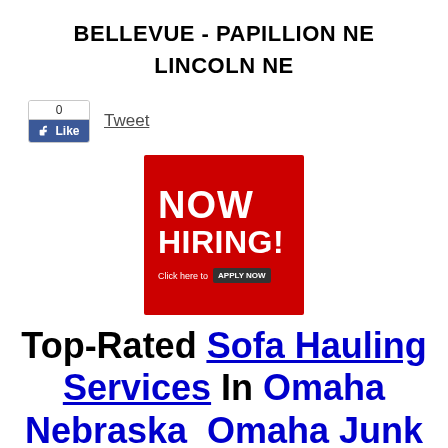BELLEVUE - PAPILLION NE
LINCOLN NE
[Figure (screenshot): Facebook Like button widget with count 0 and Tweet link]
[Figure (infographic): Red NOW HIRING banner with 'Click here to APPLY NOW' button]
Top-Rated Sofa Hauling Services In Omaha Nebraska  Omaha Junk